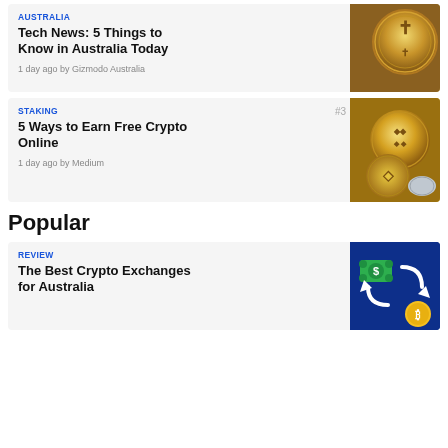AUSTRALIA
Tech News: 5 Things to Know in Australia Today
1 day ago by Gizmodo Australia
[Figure (photo): Close-up photo of gold cryptocurrency coins with cross symbol]
STAKING
5 Ways to Earn Free Crypto Online
1 day ago by Medium
[Figure (photo): Multiple gold cryptocurrency coins including Binance and Ethereum coins]
Popular
REVIEW
The Best Crypto Exchanges for Australia
[Figure (illustration): Blue background with green money bills and arrows indicating exchange, with Bitcoin coin]